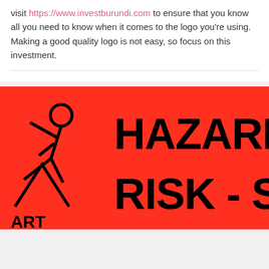visit https://www.investburundi.com to ensure that you know all you need to know when it comes to the logo you're using. Making a good quality logo is not easy, so focus on this investment.
[Figure (illustration): Red background hazard warning sign showing partial text 'HAZARD' on top line and 'RISK - SA' on second line in large bold black text, with a stick figure illustration of a person falling on the left side.]